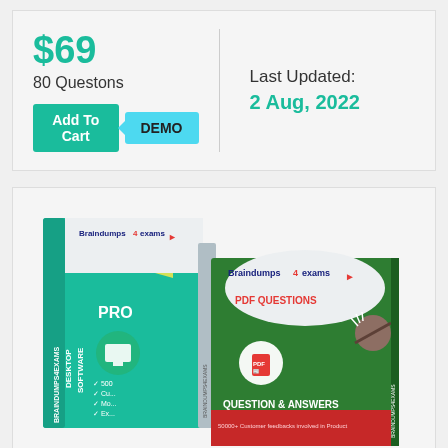$69
80 Questons
Add To Cart
DEMO
Last Updated:
2 Aug, 2022
[Figure (photo): Product boxes for Braindumps4exams showing a desktop software box (teal/green) and a PDF Questions book (green), both branded with Braindumps4exams logo. The software box reads 'DESKTOP SOFTWARE PRO' with checkmarks for 5000+, Cu..., Mo..., Ex... The PDF book reads 'PDF QUESTIONS', 'QUESTION & ANSWERS', '50000+ Customer feedbacks involved in Product'.]